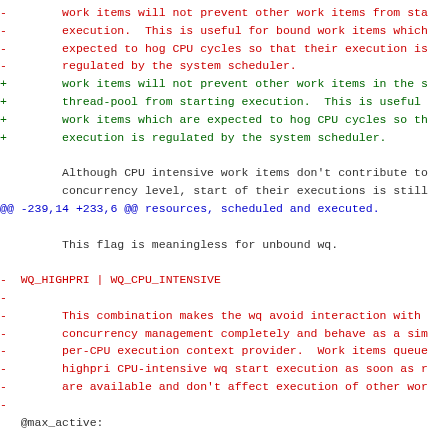- work items will not prevent other work items from sta
- execution.  This is useful for bound work items which
- expected to hog CPU cycles so that their execution is
- regulated by the system scheduler.
+ work items will not prevent other work items in the s
+ thread-pool from starting execution.  This is useful
+ work items which are expected to hog CPU cycles so th
+ execution is regulated by the system scheduler.
Although CPU intensive work items don't contribute to
concurrency level, start of their executions is still
@@ -239,14 +233,6 @@ resources, scheduled and executed.
This flag is meaningless for unbound wq.
- WQ_HIGHPRI | WQ_CPU_INTENSIVE
-
- This combination makes the wq avoid interaction with
- concurrency management completely and behave as a sim
- per-CPU execution context provider.  Work items queue
- highpri CPU-intensive wq start execution as soon as r
- are available and don't affect execution of other wor
-
@max_active: